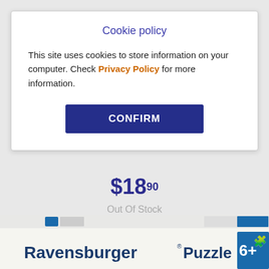Cookie policy
This site uses cookies to store information on your computer. Check Privacy Policy for more information.
CONFIRM
$18.90
Out Of Stock
Quickview
[Figure (photo): Bottom edge of a Ravensburger Puzzle box showing the brand name, logo, and 6+ age indicator]